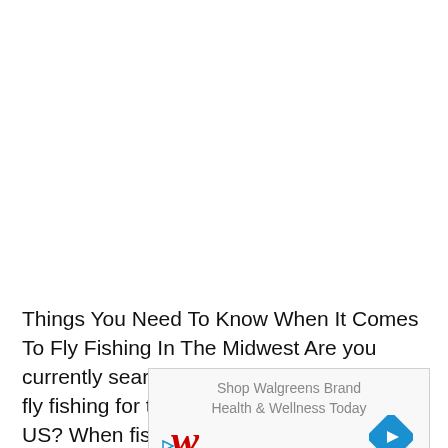Things You Need To Know When It Comes To Fly Fishing In The Midwest Are you currently searching for the best spots to go fly fishing for trout in the Midwest of the US? When fishing for trout in...
[Figure (other): Walgreens advertisement banner: 'Shop Walgreens Brand Health & Wellness Today' with Walgreens red italic W logo and blue navigation diamond arrow icon, plus video play and close controls]